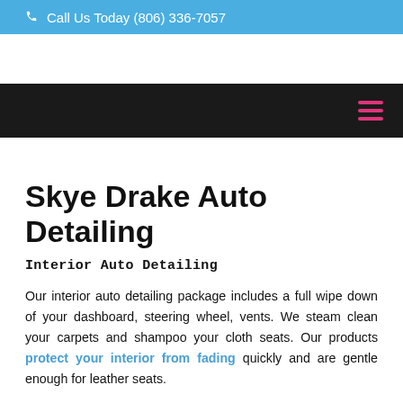Call Us Today (806) 336-7057
Skye Drake Auto Detailing
Interior Auto Detailing
Our interior auto detailing package includes a full wipe down of your dashboard, steering wheel, vents. We steam clean your carpets and shampoo your cloth seats. Our products protect your interior from fading quickly and are gentle enough for leather seats.